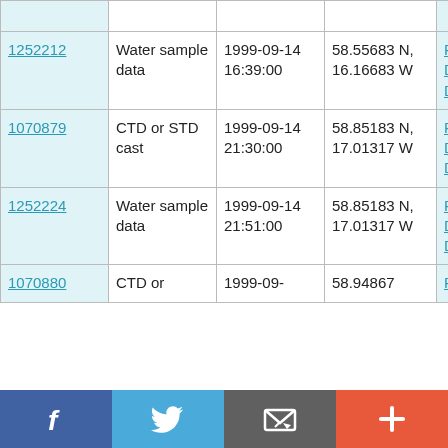| ID | Type | Date/Time | Position | Cruise |
| --- | --- | --- | --- | --- |
|  |  |  |  |  |
| 1252212 | Water sample data | 1999-09-14 16:39:00 | 58.55683 N, 16.16683 W | RRS Discovery D242 |
| 1070879 | CTD or STD cast | 1999-09-14 21:30:00 | 58.85183 N, 17.01317 W | RRS Discovery D242 |
| 1252224 | Water sample data | 1999-09-14 21:51:00 | 58.85183 N, 17.01317 W | RRS Discovery D242 |
| 1070880 | CTD or | 1999-09- | 58.94867 | RRS |
[Figure (other): Social sharing bar with Facebook, Twitter, Email, and Plus buttons]